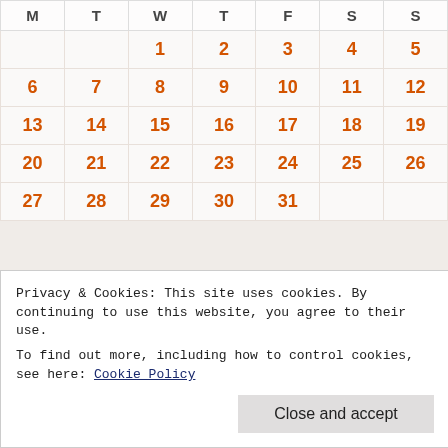| M | T | W | T | F | S | S |
| --- | --- | --- | --- | --- | --- | --- |
|  |  | 1 | 2 | 3 | 4 | 5 |
| 6 | 7 | 8 | 9 | 10 | 11 | 12 |
| 13 | 14 | 15 | 16 | 17 | 18 | 19 |
| 20 | 21 | 22 | 23 | 24 | 25 | 26 |
| 27 | 28 | 29 | 30 | 31 |  |  |
« Dec  Feb »
ARCHIVES
August 2022
July 2022
Privacy & Cookies: This site uses cookies. By continuing to use this website, you agree to their use. To find out more, including how to control cookies, see here: Cookie Policy
Close and accept
February 2022